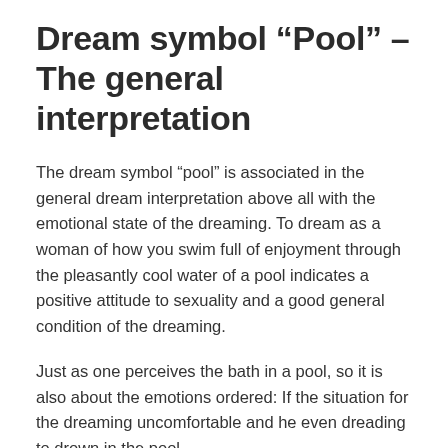Dream symbol “Pool” – The general interpretation
The dream symbol “pool” is associated in the general dream interpretation above all with the emotional state of the dreaming. To dream as a woman of how you swim full of enjoyment through the pleasantly cool water of a pool indicates a positive attitude to sexuality and a good general condition of the dreaming.
Just as one perceives the bath in a pool, so it is also about the emotions ordered: If the situation for the dreaming uncomfortable and he even dreading to drown in the pool,